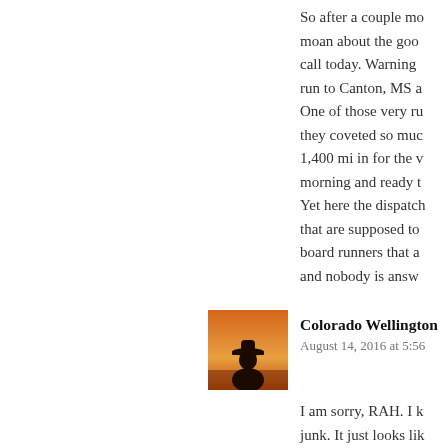So after a couple mo... moan about the goo... call today. Warning ... run to Canton, MS a... One of those very ru... they coveted so muc... 1,400 mi in for the v... morning and ready t... Yet here the dispatch... that are supposed to... board runners that a... and nobody is answ...
[Figure (photo): Small avatar photo showing a silhouette of a person wearing a cowboy hat against a warm sunset/orange background]
Colorado Wellington
August 14, 2016 at 5:56
I am sorry, RAH. I l... junk. It just looks li... saved the picture...